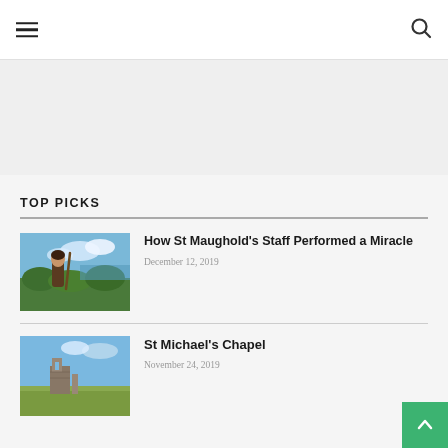Navigation menu and search icon
[Figure (other): Gray banner/advertisement area]
TOP PICKS
[Figure (photo): Photo of a robed figure holding a staff standing in front of a coastal landscape with blue sky]
How St Maughold's Staff Performed a Miracle
December 12, 2019
[Figure (photo): Photo of ruins of a stone chapel in a grassy field under a blue sky]
St Michael's Chapel
November 24, 2019